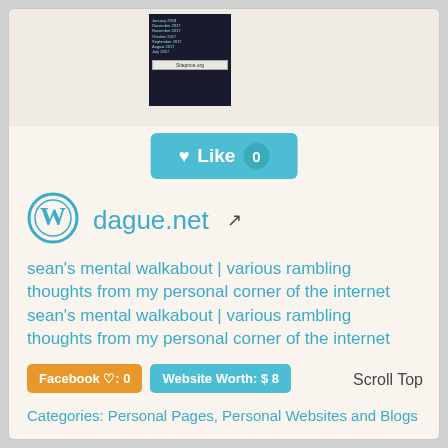[Figure (screenshot): Small dark screenshot thumbnail of siteprice.org with bar chart data and siteprice.org label]
[Figure (other): Blue Like button with heart icon and count of 0]
[Figure (logo): WordPress circle logo icon]
dague.net
sean's mental walkabout | various rambling thoughts from my personal corner of the internet sean's mental walkabout | various rambling thoughts from my personal corner of the internet
Facebook ♡: 0
Website Worth: $ 8
Scroll Top
Categories: Personal Pages, Personal Websites and Blogs
Is it similar?
Yes 0
No 0